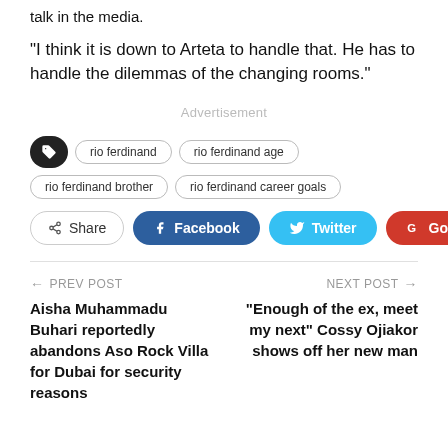talk in the media.
“I think it is down to Arteta to handle that. He has to handle the dilemmas of the changing rooms.”
Advertisement
rio ferdinand
rio ferdinand age
rio ferdinand brother
rio ferdinand career goals
Share | Facebook | Twitter | Google+
← PREV POST
NEXT POST →
Aisha Muhammadu Buhari reportedly abandons Aso Rock Villa for Dubai for security reasons
“Enough of the ex, meet my next” Cossy Ojiakor shows off her new man